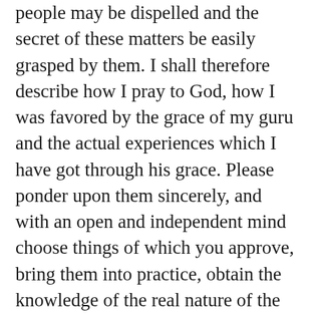people may be dispelled and the secret of these matters be easily grasped by them. I shall therefore describe how I pray to God, how I was favored by the grace of my guru and the actual experiences which I have got through his grace. Please ponder upon them sincerely, and with an open and independent mind choose things of which you approve, bring them into practice, obtain the knowledge of the real nature of the Self, become immersed in the bliss of the Self and be favorites of fortune.
I think that I must have made preparations in my previous life and that I must have been